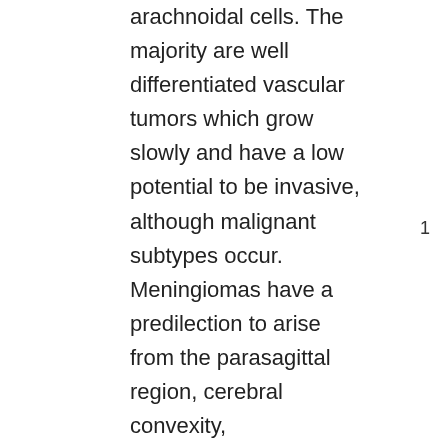arachnoidal cells. The majority are well differentiated vascular tumors which grow slowly and have a low potential to be invasive, although malignant subtypes occur. Meningiomas have a predilection to arise from the parasagittal region, cerebral convexity,
1